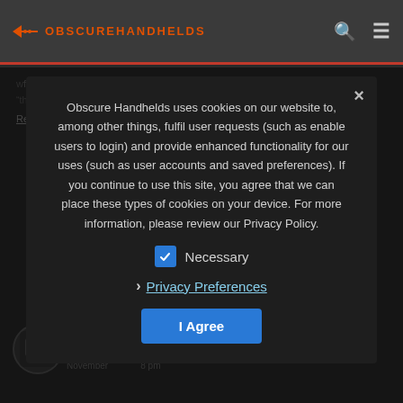OBSCUREHANDHELDS
Obscure Handhelds uses cookies on our website to, among other things, fulfil user requests (such as enable users to login) and provide enhanced functionality for our uses (such as user accounts and saved preferences). If you continue to use this site, you agree that we can place these types of cookies on your device. For more information, please review our Privacy Policy.
Necessary
Privacy Preferences
I Agree